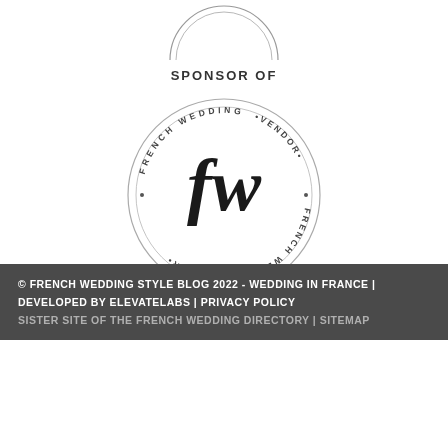[Figure (logo): Partial circular stamp/badge logo at top, cut off, appears to say 'FRENCH WEDDING' or similar around the edge, shown upside-down]
SPONSOR OF
[Figure (logo): French Wedding Vendor circular badge logo with 'fw' monogram in serif font at center, text around circle reads 'FRENCH WEDDING VENDOR FRENCH WEDDING VENDOR']
© FRENCH WEDDING STYLE BLOG 2022 - WEDDING IN FRANCE | DEVELOPED BY ELEVATELABS | PRIVACY POLICY SISTER SITE OF THE FRENCH WEDDING DIRECTORY | SITEMAP